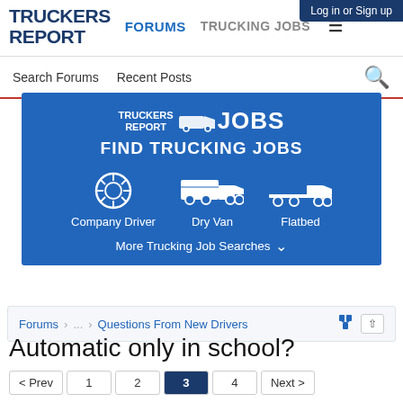Log in or Sign up
TRUCKERS REPORT
FORUMS  TRUCKING JOBS
Search Forums  Recent Posts
[Figure (infographic): Truckers Report Jobs banner with logo, Find Trucking Jobs heading, three icons for Company Driver, Dry Van, and Flatbed, and More Trucking Job Searches link]
Forums ... Questions From New Drivers
Automatic only in school?
< Prev  1  2  3  4  Next >